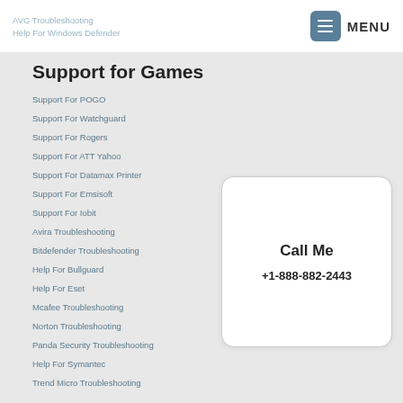AVG Troubleshooting
Help For Windows Defender
MENU
Support for Games
Support For POGO
Support For Watchguard
Support For Rogers
Support For ATT Yahoo
Support For Datamax Printer
Support For Emsisoft
Support For Iobit
Avira Troubleshooting
Bitdefender Troubleshooting
Help For Bullguard
Help For Eset
Mcafee Troubleshooting
Norton Troubleshooting
Panda Security Troubleshooting
Help For Symantec
Trend Micro Troubleshooting
[Figure (infographic): White rounded card with bold text 'Call Me' and phone number '+1-888-882-2443']